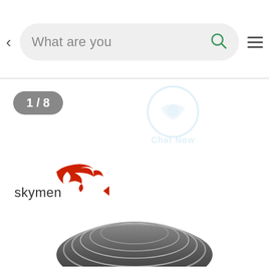[Figure (screenshot): Mobile app search bar UI with back arrow, search field showing 'What are you', green search icon, and hamburger menu]
1 / 8
[Figure (logo): Chat Now watermark logo in light blue]
[Figure (logo): Skymen brand logo with red dolphin and text 'skymen']
[Figure (photo): Bottom portion of a dark gray circular product (appears to be an ultrasonic cleaner)]